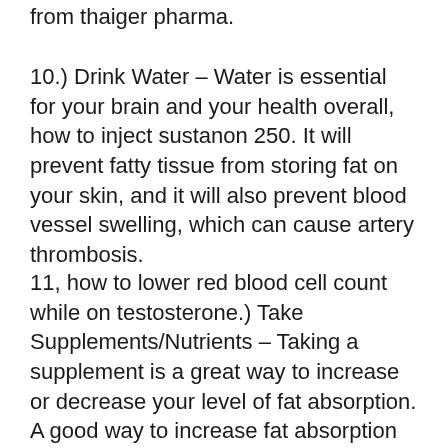from thaiger pharma.
10.) Drink Water – Water is essential for your brain and your health overall, how to inject sustanon 250. It will prevent fatty tissue from storing fat on your skin, and it will also prevent blood vessel swelling, which can cause artery thrombosis.
11, how to lower red blood cell count while on testosterone.) Take Supplements/Nutrients – Taking a supplement is a great way to increase or decrease your level of fat absorption. A good way to increase fat absorption is by taking supplements that have fat soluble vitamins: B-complex vitamins, folic acid, and magnesium.
12.) Avoid Alcohol – Alcohol lowers your insulin reaction rate and slows your metabolism by decreasing the amount of